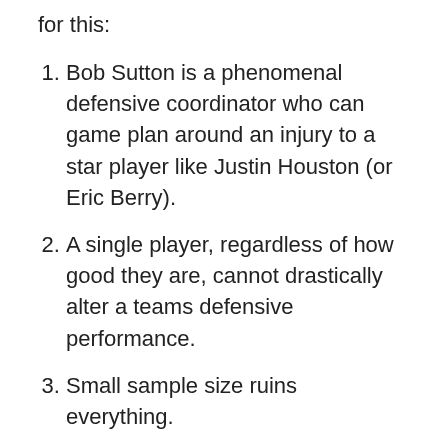for this:
Bob Sutton is a phenomenal defensive coordinator who can game plan around an injury to a star player like Justin Houston (or Eric Berry).
A single player, regardless of how good they are, cannot drastically alter a teams defensive performance.
Small sample size ruins everything.
Speaking of Small Sample Sizes
After being confused by the results I decided to go back and gather stats from every game during the Bob Sutton era. During this time Houston has played in 39 games and missed 12 games — keep in mind I am including the 2015 divisional playoff game against the